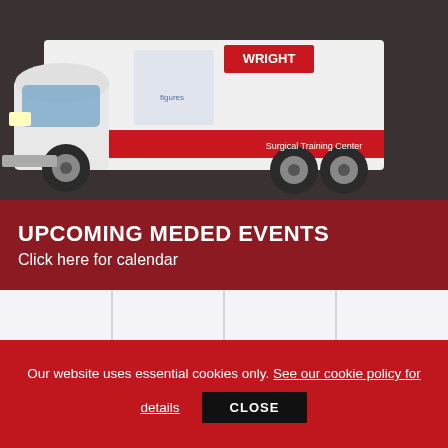[Figure (photo): Wright Medical branded mobile surgical training center truck on dark background]
UPCOMING MEDED EVENTS
Click here for calendar
[Figure (photo): Close-up of a calendar showing dates 12-15 and 19-22, with a red thumbtack pinned on date 20]
Our website uses essential cookies only. See our cookie policy for details  CLOSE